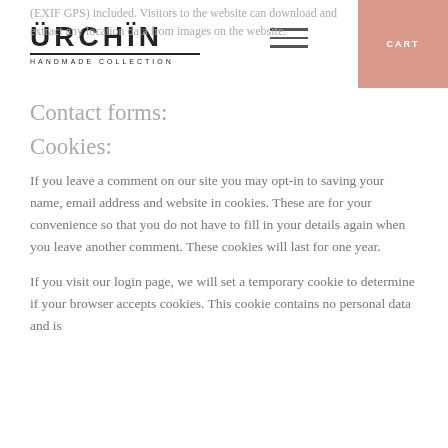URCHIN HANDMADE COLLECTION
(EXIF GPS) included. Visitors to the website can download and extract any location data from images on the website.
Contact forms:
Cookies:
If you leave a comment on our site you may opt-in to saving your name, email address and website in cookies. These are for your convenience so that you do not have to fill in your details again when you leave another comment. These cookies will last for one year.
If you visit our login page, we will set a temporary cookie to determine if your browser accepts cookies. This cookie contains no personal data and is